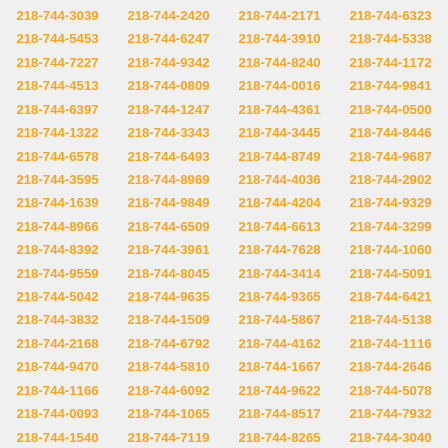218-744-3039 218-744-2420 218-744-2171 218-744-6323 218-744-5453 218-744-6247 218-744-3910 218-744-5338 218-744-7227 218-744-9342 218-744-8240 218-744-1172 218-744-4513 218-744-0809 218-744-0016 218-744-9841 218-744-6397 218-744-1247 218-744-4361 218-744-0500 218-744-1322 218-744-3343 218-744-3445 218-744-8446 218-744-6578 218-744-6493 218-744-8749 218-744-9687 218-744-3595 218-744-8969 218-744-4036 218-744-2902 218-744-1639 218-744-9849 218-744-4204 218-744-9329 218-744-8966 218-744-6509 218-744-6613 218-744-3299 218-744-8392 218-744-3961 218-744-7628 218-744-1060 218-744-9559 218-744-8045 218-744-3414 218-744-5091 218-744-5042 218-744-9635 218-744-9365 218-744-6421 218-744-3832 218-744-1509 218-744-5867 218-744-5138 218-744-2168 218-744-6792 218-744-4162 218-744-1116 218-744-9470 218-744-5810 218-744-1667 218-744-2646 218-744-1166 218-744-6092 218-744-9622 218-744-5078 218-744-0093 218-744-1065 218-744-8517 218-744-7932 218-744-1540 218-744-7119 218-744-8265 218-744-3040 218-744-8316 218-744-8001 218-744-5918 218-744-2846 218-744-5958 218-744-8111 218-744-3357 218-744-1523 218-744-4135 218-744-9970 218-744-2880 218-744-5928 218-744-5368 218-744-1462 218-744-5013 218-744-4399 218-744-2644 218-744-6769 218-744-7987 218-744-4522 218-744-6638 218-744-6755 218-744-6806 218-744-7857 218-744-3736 218-744-4268 218-744-3613 218-744-3294 218-744-7584 218-744-5370 218-744-7872 218-744-2395 218-744-9109 218-744-7474 218-744-3677 218-744-7721 218-744-2904 218-744-9117 218-744-8796 218-744-5720 218-744-2925 218-744-3009 218-744-4643 218-744-3604